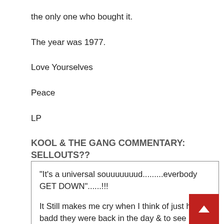the only one who bought it.
The year was 1977.
Love Yourselves
Peace
LP
KOOL & THE GANG COMMENTARY: SELLOUTS??
"It’s a universal souuuuuuud.........everbody GET DOWN"......!!!
It Still makes me cry when I think of just how badd they were back in the day & to see how they